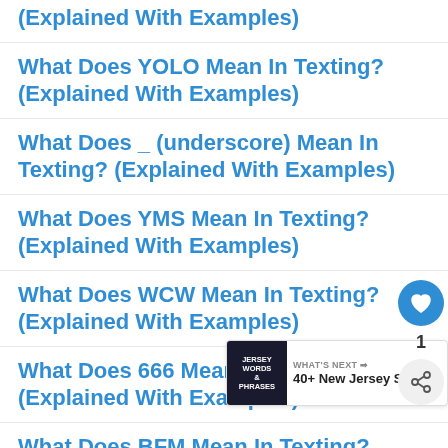(Explained With Examples)
What Does YOLO Mean In Texting? (Explained With Examples)
What Does _ (underscore) Mean In Texting? (Explained With Examples)
What Does YMS Mean In Texting? (Explained With Examples)
What Does WCW Mean In Texting? (Explained With Examples)
What Does 666 Mean In Texting? (Explained With Examples)
What Does BFM Mean In Texting?